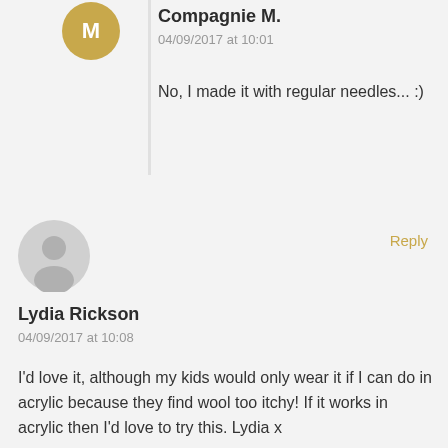[Figure (illustration): Gold circular avatar with letter M logo for Compagnie M.]
Compagnie M.
04/09/2017 at 10:01
No, I made it with regular needles... :)
[Figure (illustration): Gray default user avatar silhouette for Lydia Rickson]
Reply
Lydia Rickson
04/09/2017 at 10:08
I'd love it, although my kids would only wear it if I can do in acrylic because they find wool too itchy! If it works in acrylic then I'd love to try this. Lydia x